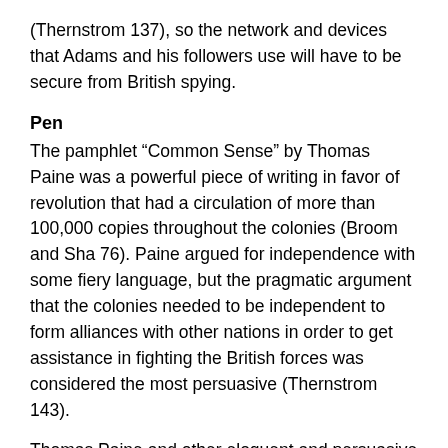(Thernstrom 137), so the network and devices that Adams and his followers use will have to be secure from British spying.
Pen
The pamphlet “Common Sense” by Thomas Paine was a powerful piece of writing in favor of revolution that had a circulation of more than 100,000 copies throughout the colonies (Broom and Sha 76). Paine argued for independence with some fiery language, but the pragmatic argument that the colonies needed to be independent to form alliances with other nations in order to get assistance in fighting the British forces was considered the most persuasive (Thernstrom 143).
Thomas Paine and other eloquent and persuasive writers of their time would benefit from having their own blogs to publicize their content and collect subscribers so that the contact information can be shared with members of the